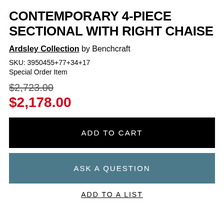CONTEMPORARY 4-PIECE SECTIONAL WITH RIGHT CHAISE
Ardsley Collection by Benchcraft
SKU: 3950455+77+34+17
Special Order Item
$2,723.00
$2,178.00
ADD TO CART
ASK A QUESTION
ADD TO A LIST